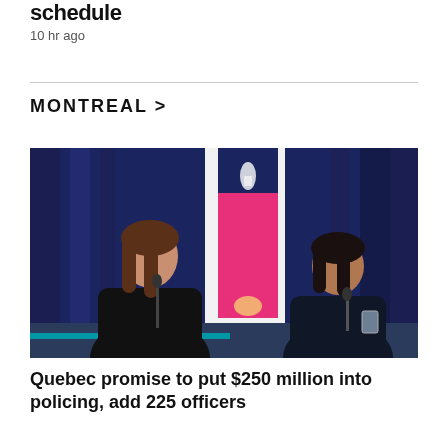schedule
10 hr ago
MONTREAL >
[Figure (photo): Two women seated at a press conference table in front of a Montreal city flag (pink and white fleur-de-lis on dark blue background). The woman on the left has long brown hair and wears a black outfit, appearing to speak with a microphone in front of her. The woman on the right has dark hair and wears a dark top, looking forward with a microphone stand beside her and a glass of water on the table.]
Quebec promise to put $250 million into policing, add 225 officers